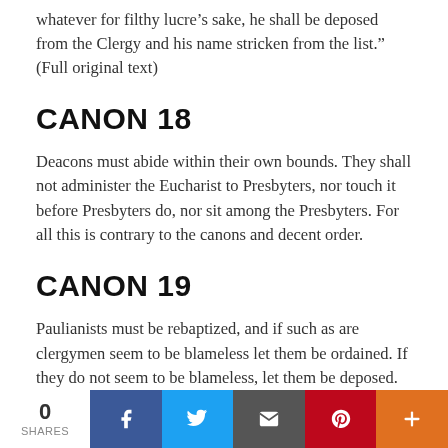whatever for filthy lucre's sake, he shall be deposed from the Clergy and his name stricken from the list.” (Full original text)
CANON 18
Deacons must abide within their own bounds. They shall not administer the Eucharist to Presbyters, nor touch it before Presbyters do, nor sit among the Presbyters. For all this is contrary to the canons and decent order.
CANON 19
Paulianists must be rebaptized, and if such as are clergymen seem to be blameless let them be ordained. If they do not seem to be blameless, let them be deposed. Deaconesses, who have been led astray, since
0 SHARES